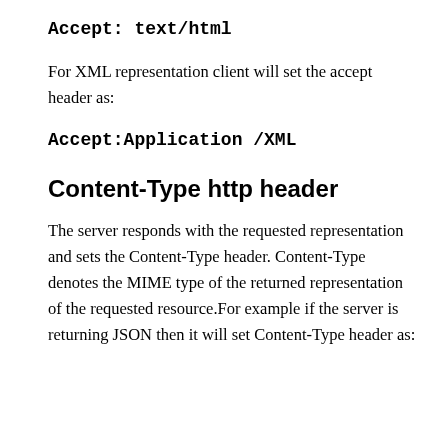Accept: text/html
For XML representation client will set the accept header as:
Accept:Application /XML
Content-Type http header
The server responds with the requested representation and sets the Content-Type header. Content-Type denotes the MIME type of the returned representation of the requested resource.For example if the server is returning JSON then it will set Content-Type header as: